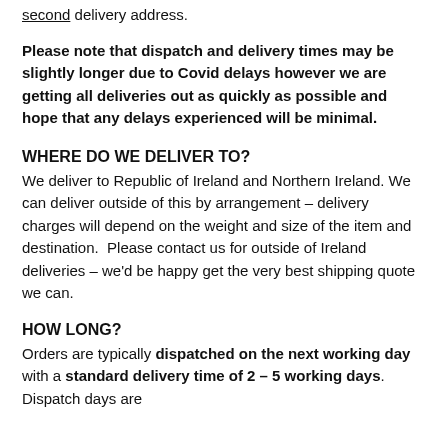second delivery address.
Please note that dispatch and delivery times may be slightly longer due to Covid delays however we are getting all deliveries out as quickly as possible and hope that any delays experienced will be minimal.
WHERE DO WE DELIVER TO?
We deliver to Republic of Ireland and Northern Ireland. We can deliver outside of this by arrangement – delivery charges will depend on the weight and size of the item and destination.  Please contact us for outside of Ireland deliveries – we'd be happy get the very best shipping quote we can.
HOW LONG?
Orders are typically dispatched on the next working day with a standard delivery time of 2 – 5 working days. Dispatch days are